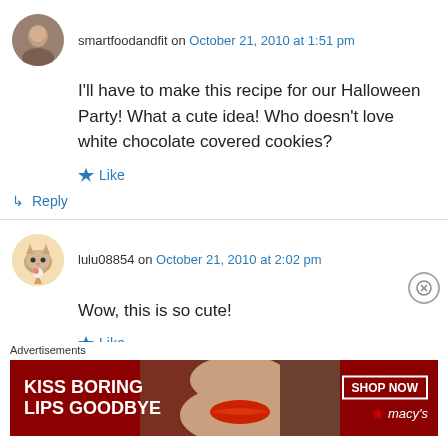smartfoodandfit on October 21, 2010 at 1:51 pm
I'll have to make this recipe for our Halloween Party! What a cute idea! Who doesn't love white chocolate covered cookies?
Like
Reply
lulu08854 on October 21, 2010 at 2:02 pm
Wow, this is so cute!
Like
Advertisements
[Figure (other): Macy's advertisement banner: KISS BORING LIPS GOODBYE with SHOP NOW button and Macy's logo, featuring a woman's face with red lipstick]